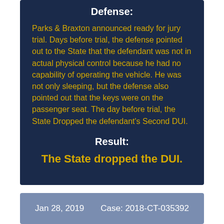Defense:
Parks & Braxton announced ready for jury trial. Days before trial, the defense pointed out to the State that the defendant was not in actual physical control because he had no capability of operating the vehicle. He was not only sleeping, but the defense also pointed out that the keys were on the passenger seat. The day before trial, the State Dropped the defendant’s Second DUI.
Result:
The State dropped the DUI.
Jan 28, 2019    Case: 2018-CT-035392